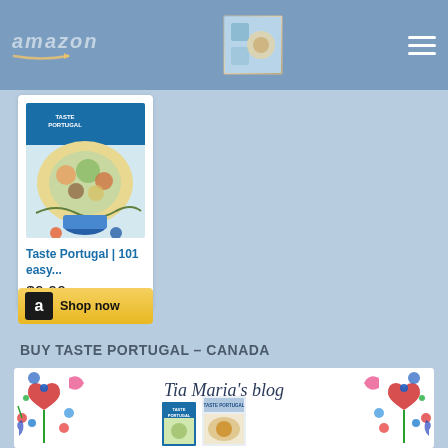[Figure (screenshot): Amazon header bar with logo, book thumbnail image, and hamburger menu icon on blue-gray background]
[Figure (photo): Taste Portugal cookbook cover with blue header, food photography, decorative elements]
Taste Portugal | 101 easy...
$9.99
[Figure (other): Amazon Shop now button with black Amazon icon box and yellow background]
BUY TASTE PORTUGAL - CANADA
[Figure (photo): Tia Maria's blog banner with floral decorative border, cursive blog title, and cookbook cover images]